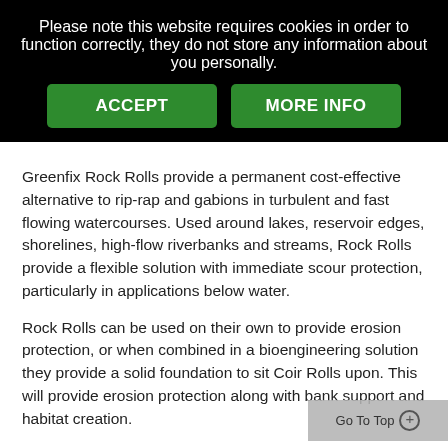Please note this website requires cookies in order to function correctly, they do not store any information about you personally.
[Figure (screenshot): Two green buttons labeled ACCEPT and MORE INFO]
Greenfix Rock Rolls provide a permanent cost-effective alternative to rip-rap and gabions in turbulent and fast flowing watercourses. Used around lakes, reservoir edges, shorelines, high-flow riverbanks and streams, Rock Rolls provide a flexible solution with immediate scour protection, particularly in applications below water.
Rock Rolls can be used on their own to provide erosion protection, or when combined in a bioengineering solution they provide a solid foundation to sit Coir Rolls upon. This will provide erosion protection along with bank support and habitat creation.